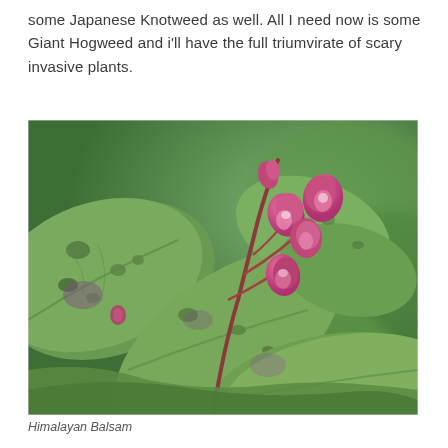some Japanese Knotweed as well. All I need now is some Giant Hogweed and i'll have the full triumvirate of scary invasive plants.
[Figure (photo): Photograph of Himalayan Balsam plant showing large green leaves with dark spots and pink/magenta orchid-like flowers on reddish stems, set against a blurred green background.]
Himalayan Balsam